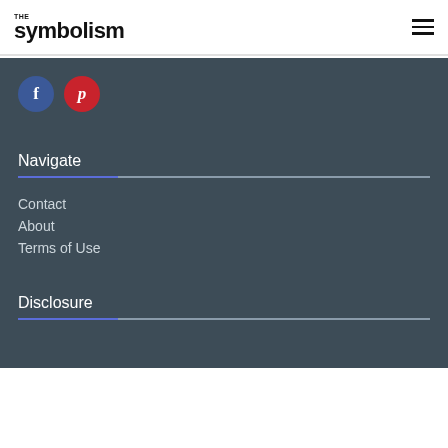THE symbolism
[Figure (logo): Social media icons: Facebook (blue circle with f) and Pinterest (red circle with p)]
Navigate
Contact
About
Terms of Use
Disclosure